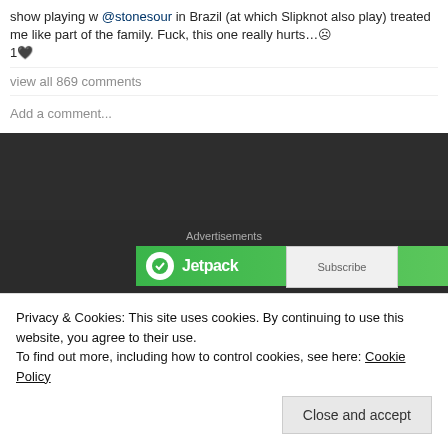show playing w @stonesour in Brazil (at which Slipknot also play) treated me like part of the family. Fuck, this one really hurts…☹ 1🖤
view all 869 comments
Add a comment...
Advertisements
[Figure (screenshot): Jetpack advertisement banner, green background with logo]
Richard Shaw (Cradle Of Filth):
[Figure (screenshot): Instagram profile embed for richardshawguitarist with verified badge, 21.2K followers]
Privacy & Cookies: This site uses cookies. By continuing to use this website, you agree to their use.
To find out more, including how to control cookies, see here: Cookie Policy
Close and accept